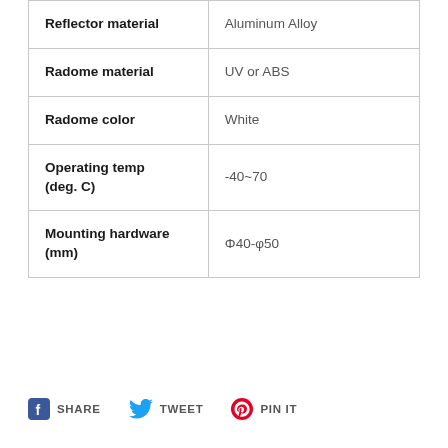| Property | Value |
| --- | --- |
| Reflector material | Aluminum Alloy |
| Radome material | UV or ABS |
| Radome color | White |
| Operating temp (deg. C) | -40~70 |
| Mounting hardware (mm) | Φ40-φ50 |
SHARE  TWEET  PIN IT